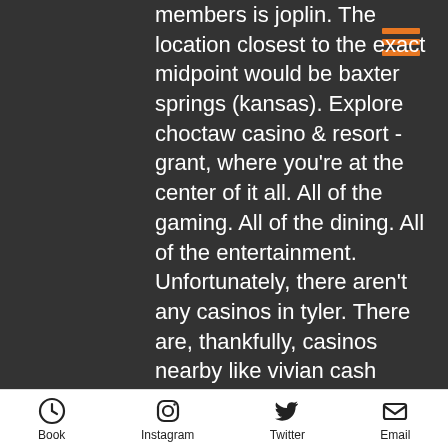members is joplin. The location closest to the exact midpoint would be baxter springs (kansas). Explore choctaw casino &amp; resort - grant, where you're at the center of it all. All of the gaming. All of the dining. All of the entertainment. Unfortunately, there aren't any casinos in tyler. There are, thankfully, casinos nearby like vivian cash magic casino &amp; truck plaza, shreveport cash magic. 201 s old rail rd kaufman, tx 75142 (972) 932-7799. Rapid recovery is an iv therapy center offering fluids, vitamins, and meds at our luxury facilities, your home, hotel, office, or event. The choctaw casino resort is a casino and a hotel complex, the second closest to dallas by 94 miles. It is the only aaa four diamond-rated hotel in southern. Red river casino is located approximately 99 miles from tyler. They are regarded as one of
Book  Instagram  Twitter  Email